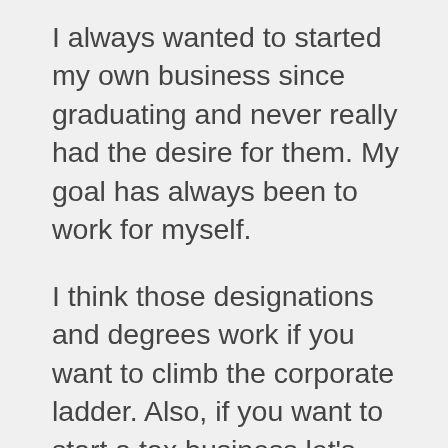I always wanted to started my own business since graduating and never really had the desire for them. My goal has always been to work for myself.
I think those designations and degrees work if you want to climb the corporate ladder. Also, if you want to start a tax business let's say, having a CPA legitimizes you more.
But, overall, I think the best experience for anyone who wants to start their own business is to start a business! Just do it! Experience and failure are the best teachers. You learn what you don't know, fail at it, pick yourself up, and repeat.
If you want to move up in a career, get the